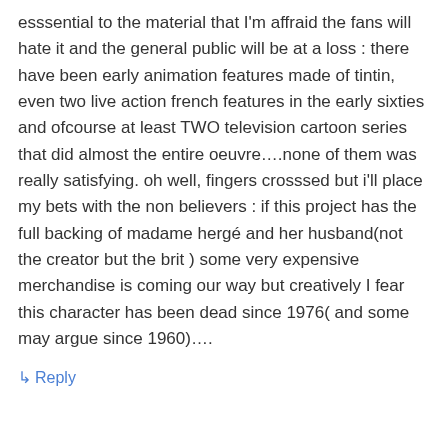esssential to the material that I'm affraid the fans will hate it and the general public will be at a loss : there have been early animation features made of tintin, even two live action french features in the early sixties and ofcourse at least TWO television cartoon series that did almost the entire oeuvre….none of them was really satisfying. oh well, fingers crosssed but i'll place my bets with the non believers : if this project has the full backing of madame hergé and her husband(not the creator but the brit ) some very expensive merchandise is coming our way but creatively I fear this character has been dead since 1976( and some may argue since 1960)….
↳ Reply